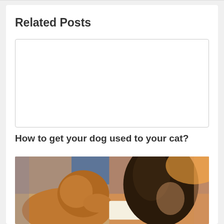Related Posts
[Figure (other): Empty white placeholder box with light border]
How to get your dog used to your cat?
[Figure (photo): Photo of a golden retriever dog and a person with dark hair in a crowd, warm orange lighting]